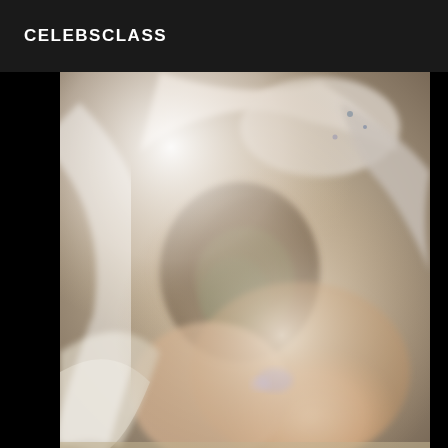CELEBSCLASS
[Figure (photo): A close-up, blurry photograph showing a person wearing white lace or embroidered fabric clothing, with floral patterned material visible in the center. The image is overexposed and out of focus with light flares visible.]